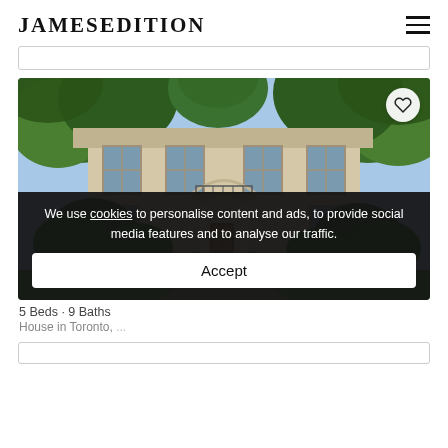JamesEdition
[Figure (photo): Exterior photo of a large stone manor house with ivy-covered walls, arched entryway with wooden door, balcony with wrought-iron railing, surrounded by lush green trees and shrubs. A circular white favorite/heart button is in the top-right corner of the image.]
We use cookies to personalise content and ads, to provide social media features and to analyse our traffic.
Accept
5 Beds · 9 Baths
House in Toronto, ...